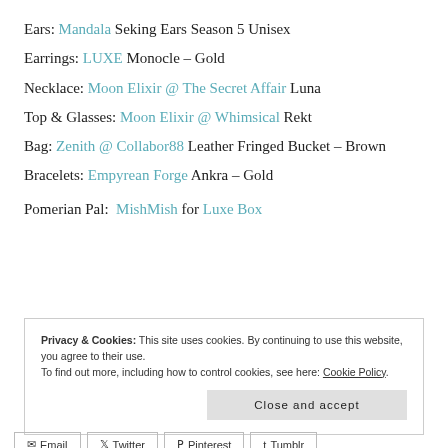Ears: Mandala Seking Ears Season 5 Unisex
Earrings: LUXE Monocle – Gold
Necklace: Moon Elixir @ The Secret Affair Luna
Top & Glasses: Moon Elixir @ Whimsical Rekt
Bag: Zenith @ Collabor88 Leather Fringed Bucket – Brown
Bracelets: Empyrean Forge Ankra – Gold
Pomerian Pal:  MishMish for Luxe Box
Privacy & Cookies: This site uses cookies. By continuing to use this website, you agree to their use. To find out more, including how to control cookies, see here: Cookie Policy
Close and accept
Email Twitter Pinterest Tumblr